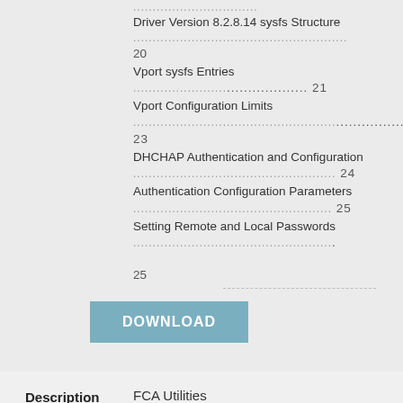Driver Version 8.2.8.14 sysfs Structure............................................................... 20
Vport sysfs Entries........................ 21
Vport Configuration Limits................ 23
DHCHAP Authentication and Configuration.................................................. 24
Authentication Configuration Parameters........................................ 25
Setting Remote and Local Passwords......... 25
[Figure (other): DOWNLOAD button (teal/steel blue background, white bold uppercase text)]
Description
FCA Utilities